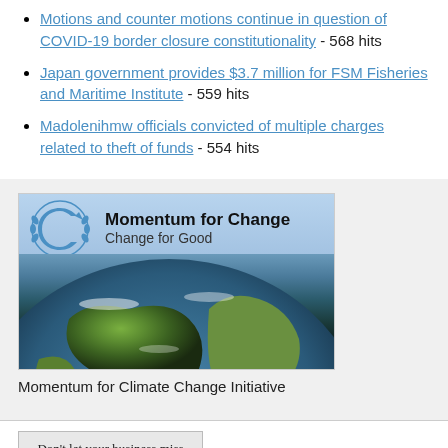Motions and counter motions continue in question of COVID-19 border closure constitutionality - 568 hits
Japan government provides $3.7 million for FSM Fisheries and Maritime Institute - 559 hits
Madolenihmw officials convicted of multiple charges related to theft of funds - 554 hits
[Figure (illustration): Momentum for Change / Change for Good banner with UNFCCC logo and Earth globe image]
Momentum for Climate Change Initiative
[Figure (illustration): Advertisement image: Don't let your business miss another exciting issue, with newspaper graphic]